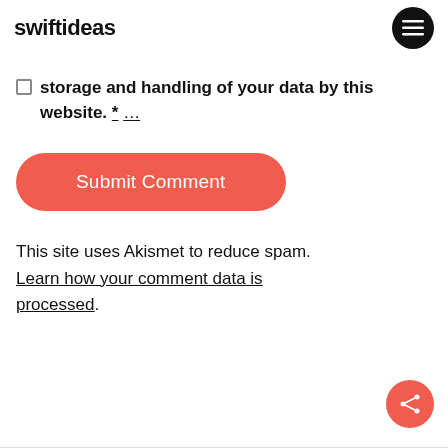swiftideas
storage and handling of your data by this website. * …
Submit Comment
This site uses Akismet to reduce spam. Learn how your comment data is processed.